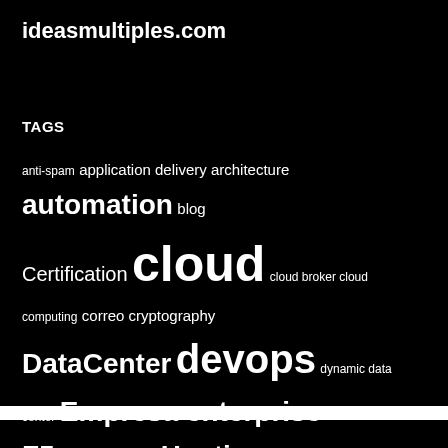ideasmultiples.com
TAGS
anti-spam application delivery architecture automation blog Certification cloud cloud broker cloud computing correo cryptography DataCenter devops dynamic data center Empresa enterprise F5 F5 EM F5 Friday FAQ Hosting infrastructure ip iRules MacVittie management monitoring optimization orchestration overselling performance policy precio private cloud computing Rack Reseller scalability domain SDC security servidores Servidores HSaaS Servidores VPS spam spamhaus Virtualización